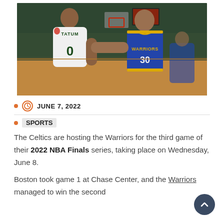[Figure (photo): Basketball players Jayson Tatum (Celtics, white jersey #0) and Stephen Curry (Warriors, blue jersey) greeting each other on the court after a game, with the arena crowd visible in the background.]
JUNE 7, 2022
SPORTS
The Celtics are hosting the Warriors for the third game of their 2022 NBA Finals series, taking place on Wednesday, June 8.
Boston took game 1 at Chase Center, and the Warriors managed to win the second